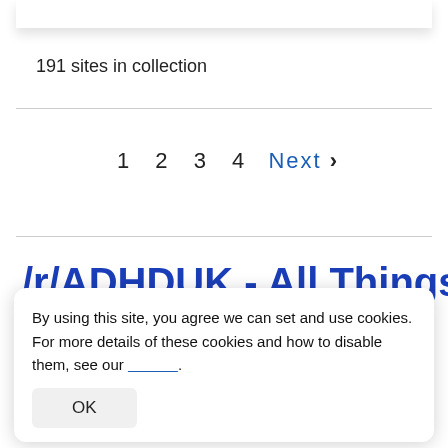191 sites in collection
1  2  3  4  Next ›
/r/ADHDUK - All Things
By using this site, you agree we can set and use cookies. For more details of these cookies and how to disable them, see our .
OK